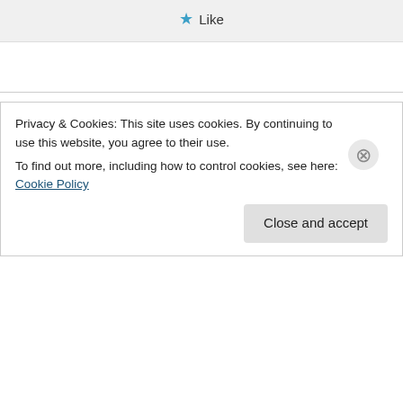★ Like
Janet MacLeod Trotter on August 2, 2013 at 3:44 pm
Hi Margaret
That's all really interesting. When I was researching my novel, Never Stand Alone,
Privacy & Cookies: This site uses cookies. By continuing to use this website, you agree to their use.
To find out more, including how to control cookies, see here: Cookie Policy
Close and accept